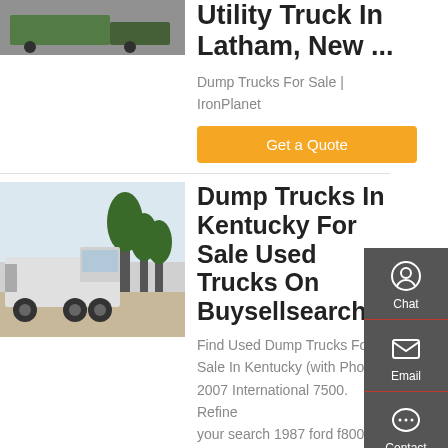[Figure (photo): Partial top of a green utility truck listing image, cropped at top of page]
Utility Truck In Latham, New ...
Dump Trucks For Sale | IronPlanet
Get a Quote
[Figure (photo): White heavy-duty semi truck (HOWO) parked near trees]
Dump Trucks In Kentucky For Sale Used Trucks On Buysellsearch
Find Used Dump Trucks For Sale In Kentucky (with Photos). 2007 International 7500. Refine your search 1987 ford f8000 chipper dump truck, s/n